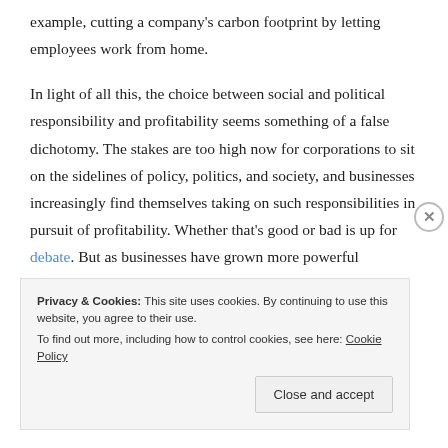example, cutting a company's carbon footprint by letting employees work from home.

In light of all this, the choice between social and political responsibility and profitability seems something of a false dichotomy. The stakes are too high now for corporations to sit on the sidelines of policy, politics, and society, and businesses increasingly find themselves taking on such responsibilities in pursuit of profitability. Whether that's good or bad is up for debate. But as businesses have grown more powerful
Privacy & Cookies: This site uses cookies. By continuing to use this website, you agree to their use.
To find out more, including how to control cookies, see here: Cookie Policy
Close and accept